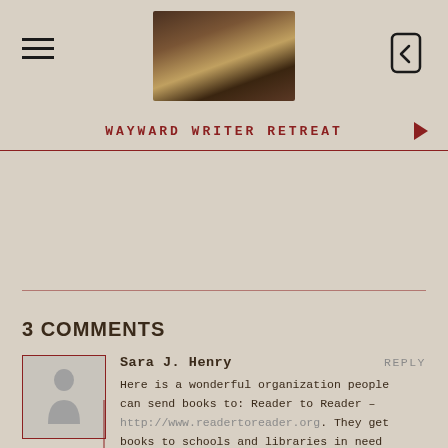[Figure (photo): Header photo showing hair/head close-up, dark tones]
WAYWARD WRITER RETREAT
3 COMMENTS
Sara J. Henry
REPLY
Here is a wonderful organization people can send books to: Reader to Reader – http://www.readertoreader.org. They get books to schools and libraries in need throughout the US and in other countries – generally books for kids, but they accept other books as well. I've mailed boxes to them, had them